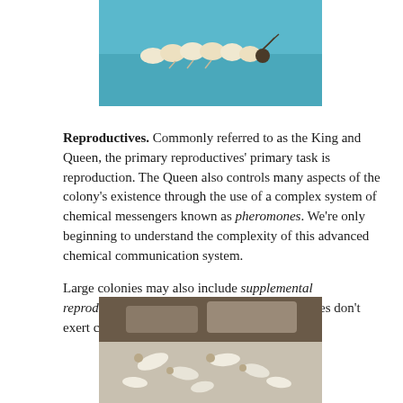[Figure (photo): Close-up photo of a termite queen or reproductive on a teal/blue background, showing a large segmented pale body with a small dark head]
Reproductives. Commonly referred to as the King and Queen, the primary reproductives' primary task is reproduction. The Queen also controls many aspects of the colony's existence through the use of a complex system of chemical messengers known as pheromones. We're only beginning to understand the complexity of this advanced chemical communication system.

Large colonies may also include supplemental reproductives, who reproduce, but whose females don't exert control over the colony's activities.
[Figure (photo): Close-up photo of termites in a colony, showing multiple pale/cream colored termites crawling on a wood or soil surface]